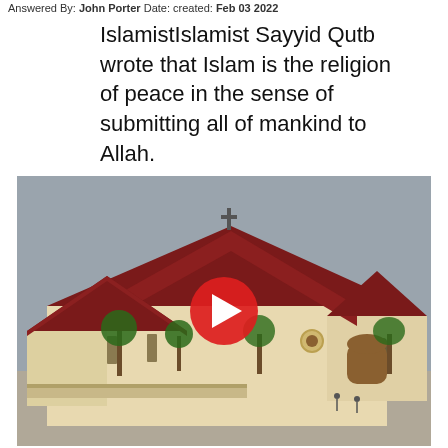Answered By: John Porter Date: created: Feb 03 2022
IslamistIslamist Sayyid Qutb wrote that Islam is the religion of peace in the sense of submitting all of mankind to Allah.
[Figure (screenshot): A video thumbnail showing a 3D architectural rendering of a church building with dark red/maroon roofs, cream-colored walls, palm trees, and a cross on top. A YouTube-style red play button is overlaid in the center.]
Asked By: Cyrus Lopez Date: created: Nov 02 2021
What is the largest United Methodist